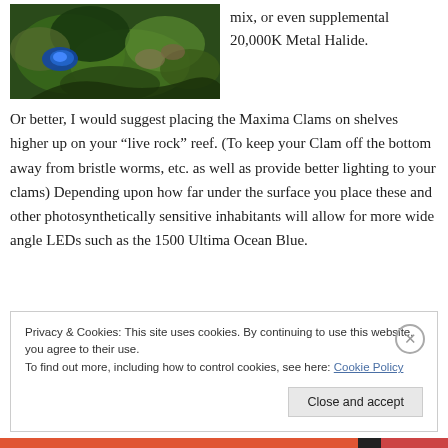[Figure (photo): Close-up photo of a blue and green marine reef with clams and coral]
mix, or even supplemental 20,000K Metal Halide.
Or better, I would suggest placing the Maxima Clams on shelves higher up on your “live rock” reef. (To keep your Clam off the bottom away from bristle worms, etc. as well as provide better lighting to your clams) Depending upon how far under the surface you place these and other photosynthetically sensitive inhabitants will allow for more wide angle LEDs such as the 1500 Ultima Ocean Blue.
Privacy & Cookies: This site uses cookies. By continuing to use this website, you agree to their use.
To find out more, including how to control cookies, see here: Cookie Policy